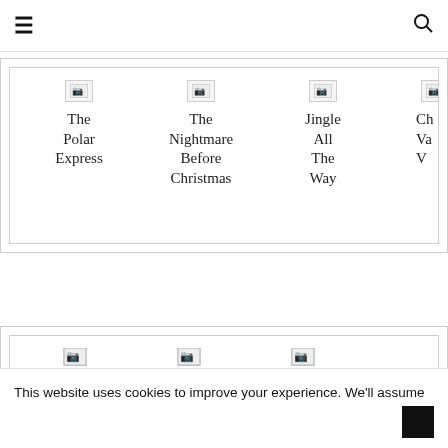☰  🔍
[Figure (screenshot): A card/grid widget showing movie thumbnails: The Polar Express, The Nightmare Before Christmas, Jingle All The Way, and a partially visible fourth title. Images are broken (not loaded).]
[Figure (screenshot): A second card/grid widget partially visible at the bottom of the page, showing three broken image placeholders.]
This website uses cookies to improve your experience. We'll assume